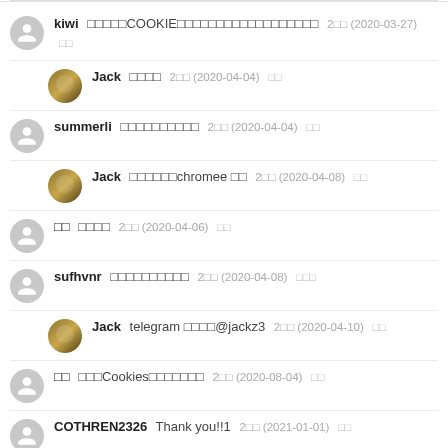kiwi □□□□□COOKIE□□□□□□□□□□□□□□□□□□ 2□□ (2020-03-27) □□
Jack □□□□ 2□□ (2020-04-04) □□
summerli □□□□□□□□□□ 2□□ (2020-04-04) □□
Jack □□□□□□chromee □□ 2□□ (2020-04-08) □□
□□ □□□□ 2□□ (2020-04-06) □□
sufhvnr □□□□□□□□□□ 2□□ (2020-04-08) □□□
Jack telegram □□□□@jackz3 2□□ (2020-04-10) □□
□□ □□□Cookies□□□□□□□ 2□□ (2020-08-04) □□
COTHREN2326 Thank you!!1 2□□ (2021-01-01) □□